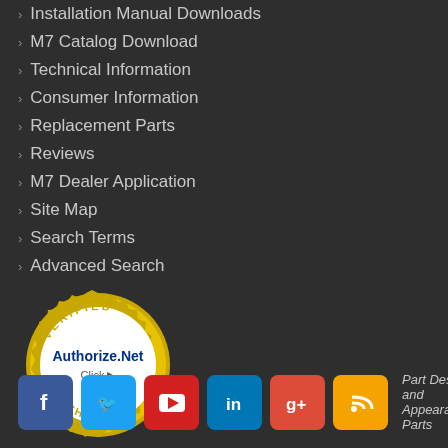Installation Manual Downloads
M7 Catalog Download
Technical Information
Consumer Information
Replacement Parts
Reviews
M7 Dealer Application
Site Map
Search Terms
Advanced Search
[Figure (logo): Authorize.Net Verified Merchant Click badge with gold seal and blue text]
Part Design and Appearance: Parts